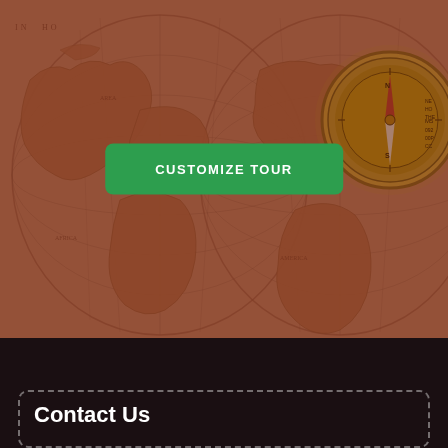[Figure (illustration): Vintage antique world map background with a brass compass in the upper right corner, overlaid with a dark reddish-brown translucent overlay. A green 'CUSTOMIZE TOUR' button is centered over the image.]
CUSTOMIZE TOUR
Contact Us